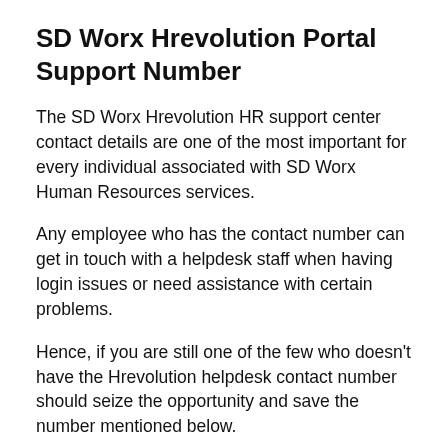SD Worx Hrevolution Portal Support Number
The SD Worx Hrevolution HR support center contact details are one of the most important for every individual associated with SD Worx Human Resources services.
Any employee who has the contact number can get in touch with a helpdesk staff when having login issues or need assistance with certain problems.
Hence, if you are still one of the few who doesn't have the Hrevolution helpdesk contact number should seize the opportunity and save the number mentioned below.